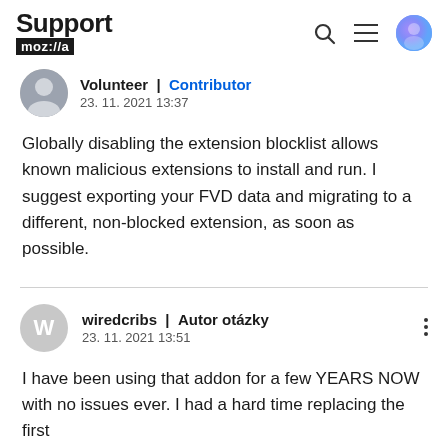Support mozilla
Volunteer | Contributor
23. 11. 2021 13:37
Globally disabling the extension blocklist allows known malicious extensions to install and run. I suggest exporting your FVD data and migrating to a different, non-blocked extension, as soon as possible.
wiredcribs | Autor otázky
23. 11. 2021 13:51
I have been using that addon for a few YEARS NOW with no issues ever. I had a hard time replacing the first